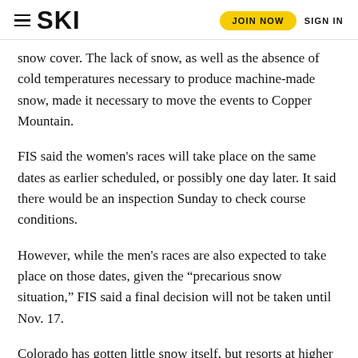SKI | JOIN NOW | SIGN IN
snow cover. The lack of snow, as well as the absence of cold temperatures necessary to produce machine-made snow, made it necessary to move the events to Copper Mountain.
FIS said the women’s races will take place on the same dates as earlier scheduled, or possibly one day later. It said there would be an inspection Sunday to check course conditions.
However, while the men’s races are also expected to take place on those dates, given the “precarious snow situation,” FIS said a final decision will not be taken until Nov. 17.
Colorado has gotten little snow itself, but resorts at higher elevations have been able to make snow.
Copper Mountain, whose village level of 9,700 feet is almost